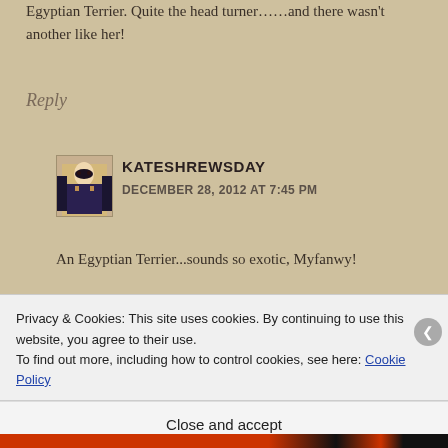Egyptian Terrier. Quite the head turner……and there wasn't another like her!
Reply
[Figure (photo): Avatar image of commenter Kateshrewsday, showing a painted illustration of a woman in medieval style clothing]
KATESHREWSDAY
DECEMBER 28, 2012 AT 7:45 PM
An Egyptian Terrier...sounds so exotic, Myfanwy!
Reply
Privacy & Cookies: This site uses cookies. By continuing to use this website, you agree to their use.
To find out more, including how to control cookies, see here: Cookie Policy
Close and accept